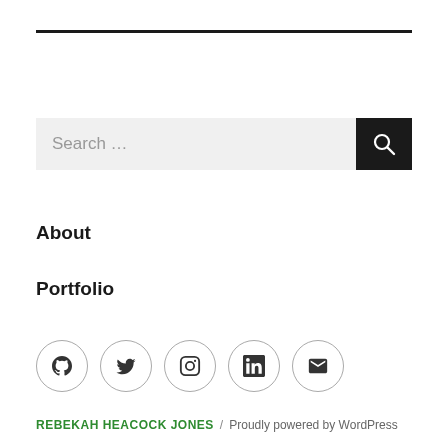[Figure (other): Horizontal rule / top divider line]
[Figure (other): Search bar with text 'Search ...' and dark search button with magnifying glass icon]
About
Portfolio
[Figure (other): Row of 5 circular social media icon buttons: GitHub, Twitter, Instagram, LinkedIn, Email]
REBEKAH HEACOCK JONES / Proudly powered by WordPress